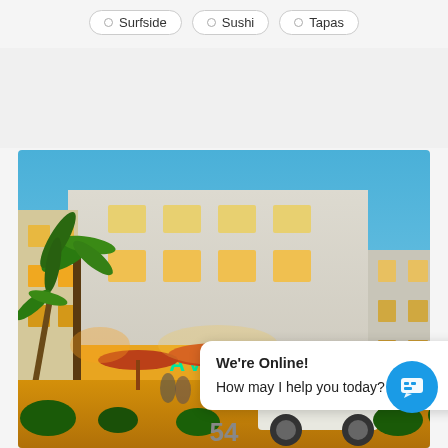Surfside
Sushi
Tapas
[Figure (photo): Nighttime photo of the Avalon Hotel in Miami Beach, a colorful Art Deco building lit with yellow and teal neon lights, palm trees in the foreground, a vintage white car parked outside, outdoor dining umbrellas, and a lively street scene.]
We're Online!
How may I help you today?